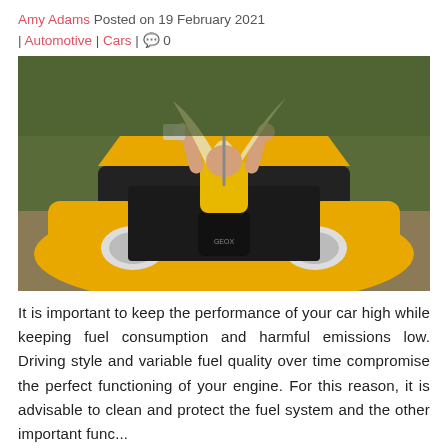Amy Adams Posted on 19 February 2021 | Automotive | Cars | 0
[Figure (photo): A blonde woman in a yellow crop top and black shorts standing in front of an open hood of a yellow sports car, viewed from behind.]
It is important to keep the performance of your car high while keeping fuel consumption and harmful emissions low. Driving style and variable fuel quality over time compromise the perfect functioning of your engine. For this reason, it is advisable to clean and protect the fuel system and the other important func...